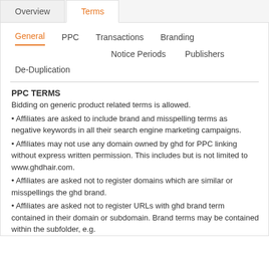Overview | Terms
General | PPC | Transactions | Branding | Notice Periods | Publishers | De-Duplication
PPC TERMS
Bidding on generic product related terms is allowed.
• Affiliates are asked to include brand and misspelling terms as negative keywords in all their search engine marketing campaigns.
• Affiliates may not use any domain owned by ghd for PPC linking without express written permission. This includes but is not limited to www.ghdhair.com.
• Affiliates are asked not to register domains which are similar or misspellings the ghd brand.
• Affiliates are asked not to register URLs with ghd brand term contained in their domain or subdomain. Brand terms may be contained within the subfolder, e.g.